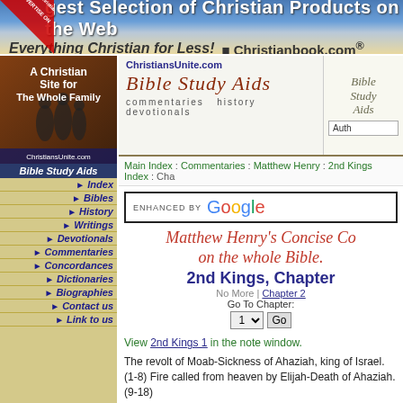[Figure (screenshot): Top banner: 'gest Selection of Christian Products on the Web' and 'Everything Christian for Less! Christianbook.com']
[Figure (illustration): Left sidebar: 'A Christian Site for The Whole Family ChristiansUnite.com' image with dark background]
Bible Study Aids
▶ Index
▶ Bibles
▶ History
▶ Writings
▶ Devotionals
▶ Commentaries
▶ Concordances
▶ Dictionaries
▶ Biographies
▶ Contact us
▶ Link to us
[Figure (logo): ChristiansUnite.com Bible Study Aids logo with cursive text and tagline 'commentaries history devotionals']
Main Index : Commentaries : Matthew Henry : 2nd Kings Index : Cha
ENHANCED BY Google
Matthew Henry's Concise Commentary on the whole Bible.
2nd Kings, Chapter 1
No More | Chapter 2
Go To Chapter:
1 ▾ Go
View 2nd Kings 1 in the note window.
The revolt of Moab-Sickness of Ahaziah, king of Israel. (1-8) Fire called from heaven by Elijah-Death of Ahaziah. (9-18)
Verses 1-8: When Ahaziah rebelled against the Lord, Moa